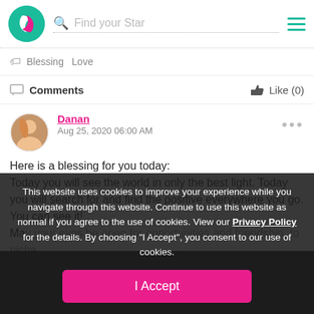Find your Star
Blessing  Love
Comments   Like (0)
Danan
Aug 25, 2020 06:00 AM
Here is a blessing for you today:
Today you will see the world in only the best light. Today you will search for and find the positive everywhere you go. You can see it! May your eyes be open for opportunities and friendship, to niche and enlarge your world. Have y...
This website uses cookies to improve your experience while you navigate through this website. Continue to use this website as normal if you agree to the use of cookies. View our Privacy Policy for the details. By choosing "I Accept", you consent to our use of cookies.
I Accept